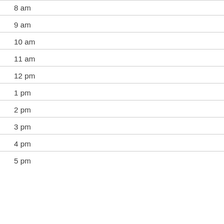8 am
9 am
10 am
11 am
12 pm
1 pm
2 pm
3 pm
4 pm
5 pm